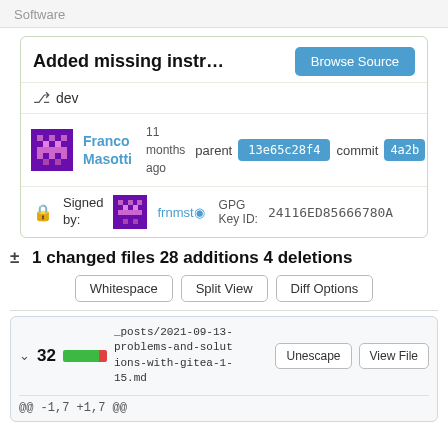Software
Added missing instruction
Browse Source
dev
Franco Masotti
11 months ago
parent 13e65c28f4 commit 4a2b
Signed by: frnmsto GPG Key ID: 24116ED85666780A
± 1 changed files 28 additions 4 deletions
Whitespace  Split View  Diff Options
∨ 32  _posts/2021-09-13-problems-and-solutions-with-gitea-1-15.md  Unescape  View File
@@ -1,7 +1,7 @@